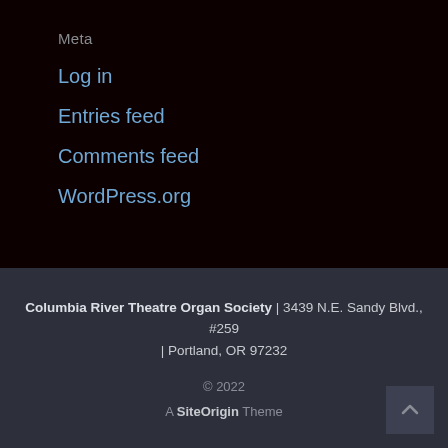Meta
Log in
Entries feed
Comments feed
WordPress.org
Columbia River Theatre Organ Society | 3439 N.E. Sandy Blvd., #259 | Portland, OR 97232
© 2022
A SiteOrigin Theme